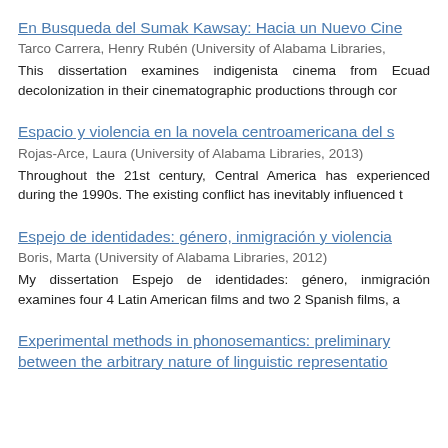En Busqueda del Sumak Kawsay: Hacia un Nuevo Cine...
Tarco Carrera, Henry Rubén (University of Alabama Libraries,
This dissertation examines indigenista cinema from Ecua... decolonization in their cinematographic productions through con...
Espacio y violencia en la novela centroamericana del s...
Rojas-Arce, Laura (University of Alabama Libraries, 2013)
Throughout the 21st century, Central America has experienced... during the 1990s. The existing conflict has inevitably influenced t...
Espejo de identidades: género, inmigración y violencia...
Boris, Marta (University of Alabama Libraries, 2012)
My dissertation Espejo de identidades: género, inmigración... examines four 4 Latin American films and two 2 Spanish films, a...
Experimental methods in phonosemantics: preliminary... between the arbitrary nature of linguistic representatio...